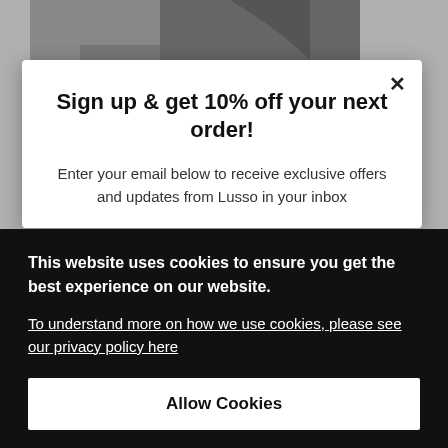[Figure (screenshot): Background of a website showing a cycling/sportswear product page with a model wearing dark athletic wear, partially obscured by overlapping modals.]
Sign up & get 10% off your next order!
Enter your email below to receive exclusive offers and updates from Lusso in your inbox
This website uses cookies to ensure you get the best experience on our website.
To understand more on how we use cookies, please see our privacy policy here
Allow Cookies